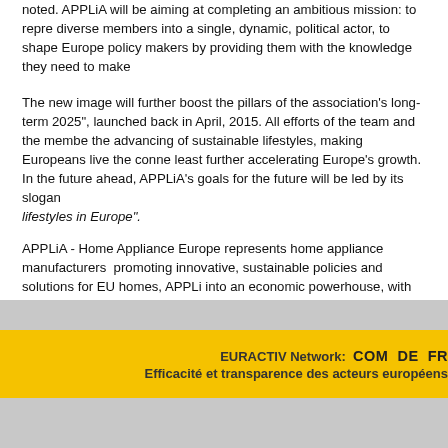noted. APPLiA will be aiming at completing an ambitious mission: to repre diverse members into a single, dynamic, political actor, to shape Europe policy makers by providing them with the knowledge they need to make
The new image will further boost the pillars of the association's long-term 2025", launched back in April, 2015. All efforts of the team and the membe the advancing of sustainable lifestyles, making Europeans live the conne least further accelerating Europe's growth.
In the future ahead, APPLiA's goals for the future will be led by its slogan lifestyles in Europe".
APPLiA - Home Appliance Europe represents home appliance manufacturers promoting innovative, sustainable policies and solutions for EU homes, APPLi into an economic powerhouse, with an annual turnover of EUR 44 billion, inves activities and creating nearly 1 million jobs.
EURACTIV Network: COM DE FR
Efficacité et transparence des acteurs européens